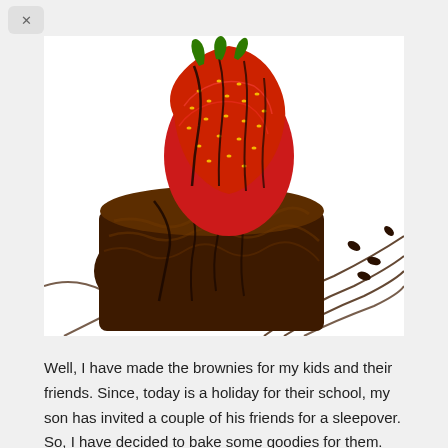[Figure (photo): A chocolate brownie topped with a fresh strawberry drizzled with chocolate sauce, plated on a white surface with chocolate drizzle and coffee beans scattered around.]
Well, I have made the brownies for my kids and their friends. Since, today is a holiday for their school, my son has invited a couple of his friends for a sleepover. So, I have decided to bake some goodies for them. This recipe is a chocolatey, gooey kind of a